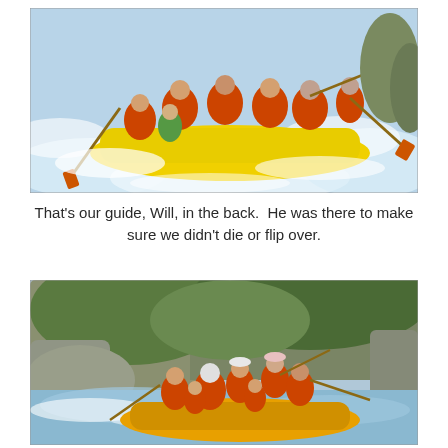[Figure (photo): A group of people in orange life vests on a yellow raft navigating white water rapids. A guide stands in the back of the raft.]
That's our guide, Will, in the back.  He was there to make sure we didn't die or flip over.
[Figure (photo): A group of people in orange life vests on a yellow/orange raft on a river surrounded by rocks and green vegetation.]